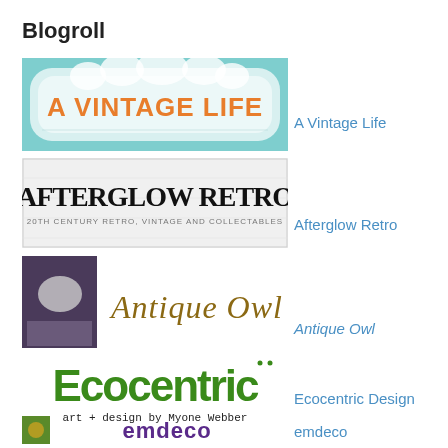Blogroll
[Figure (illustration): A Vintage Life blog banner - teal background with decorative frame containing orange text 'A VINTAGE LIFE']
A Vintage Life
[Figure (illustration): Afterglow Retro blog banner - white/grey background with black serif text 'AFTERGLOW RETRO' and subtitle '20TH CENTURY RETRO, VINTAGE AND COLLECTABLES']
Afterglow Retro
[Figure (illustration): Antique Owl blog banner - photo of clocks beside decorative brown script text 'Antique Owl']
Antique Owl
[Figure (illustration): Ecocentric Design blog banner - green patterned text 'Ecocentric' with black handwritten subtitle 'art + design by Myone Webber']
Ecocentric Design
[Figure (illustration): emdeco blog banner - small photo of colorful art beside bold purple text 'emdeco']
emdeco
[Figure (illustration): i keep This blog banner - partially visible, teal decorative image and teal text at bottom]